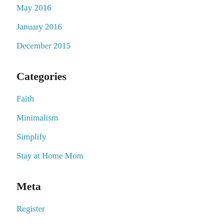May 2016
January 2016
December 2015
Categories
Faith
Minimalism
Simplify
Stay at Home Mom
Meta
Register
Log in
Entries feed